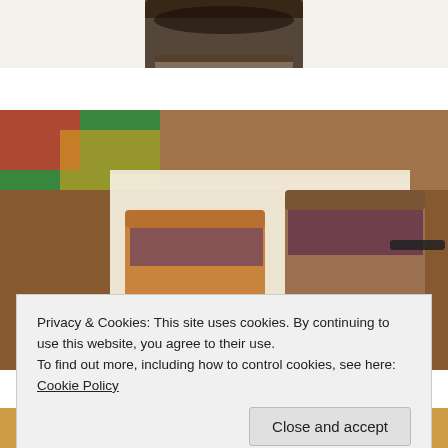[Figure (photo): Top portion of a food photo showing a dark baked item on a white plate, cropped at top of page]
[Figure (photo): Photo of sliced baked goods (bars/cookies) with a purple/chocolate filling on white parchment paper on a wooden surface with colorful cloth in background]
Privacy & Cookies: This site uses cookies. By continuing to use this website, you agree to their use.
To find out more, including how to control cookies, see here: Cookie Policy
[Figure (photo): Bottom portion of another food photo, partially visible at bottom of page]